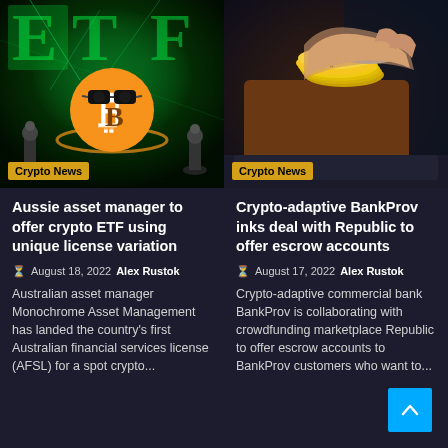[Figure (photo): Cryptocurrency ETF themed image with Bitcoin logo wearing sunglasses against green neon blockchain background with chess pieces]
[Figure (photo): Hand holding gold and silver cryptocurrency coins over a brown leather wallet on a dark surface]
Aussie asset manager to offer crypto ETF using unique license variation
Crypto-adaptive BankProv inks deal with Republic to offer escrow accounts
August 18, 2022  Alex Rustok
August 17, 2022  Alex Rustok
Australian asset manager Monochrome Asset Management has landed the country's first Australian financial services license (AFSL) for a spot crypto...
Crypto-adaptive commercial bank BankProv is collaborating with crowdfunding marketplace Republic to offer escrow accounts to BankProv customers who want to...